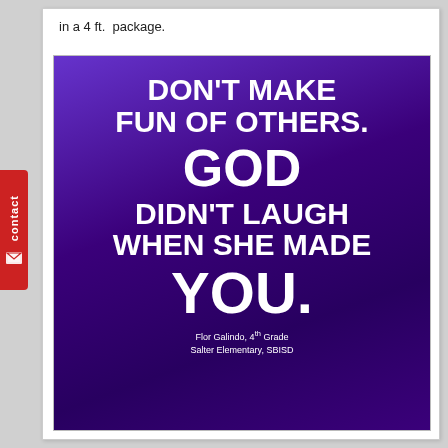in a 4 ft.  package.
[Figure (illustration): Purple gradient poster with bold white text reading: DON'T MAKE FUN OF OTHERS. GOD DIDN'T LAUGH WHEN SHE MADE YOU. Attribution: Flor Galindo, 4th Grade, Salter Elementary, SBISD]
Flor Galindo, 4th Grade
Salter Elementary, SBISD